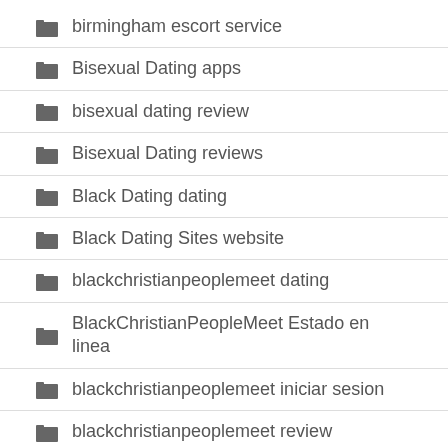birmingham escort service
Bisexual Dating apps
bisexual dating review
Bisexual Dating reviews
Black Dating dating
Black Dating Sites website
blackchristianpeoplemeet dating
BlackChristianPeopleMeet Estado en linea
blackchristianpeoplemeet iniciar sesion
blackchristianpeoplemeet review
blackchristianpeoplemeet-overzicht beoordelingen